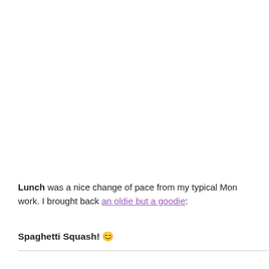Lunch was a nice change of pace from my typical Mon work. I brought back an oldie but a goodie:
Spaghetti Squash! 😊